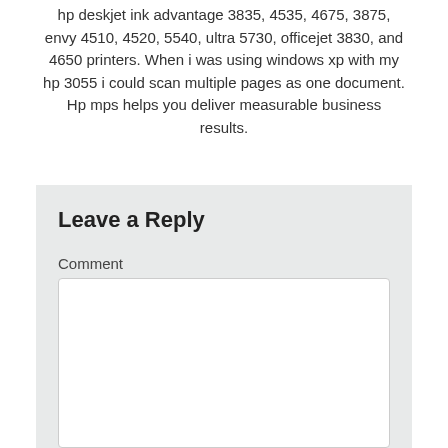hp deskjet ink advantage 3835, 4535, 4675, 3875, envy 4510, 4520, 5540, ultra 5730, officejet 3830, and 4650 printers. When i was using windows xp with my hp 3055 i could scan multiple pages as one document. Hp mps helps you deliver measurable business results.
Leave a Reply
Comment